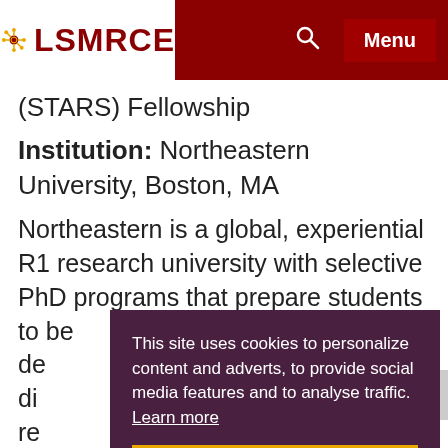[Figure (logo): LSMRCE logo with network icon on white background in dark red navigation bar]
(STARS) Fellowship
Institution: Northeastern University, Boston, MA
Northeastern is a global, experiential R1 research university with selective PhD programs that prepare students to be... de... di... re... st... de... challenges.
This site uses cookies to personalize content and adverts, to provide social media features and to analyse traffic. Learn more
Got it!